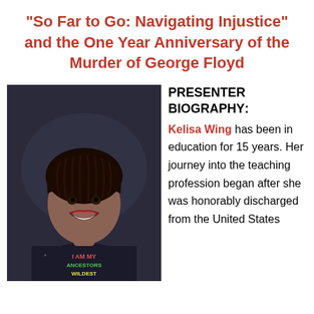“So Far to Go: Navigating Injustice” and the One Year Anniversary of the Murder of George Floyd
[Figure (photo): Portrait photo of Kelisa Wing, a Black woman with braids, smiling, wearing a dark t-shirt that reads 'I AM MY ANCESTORS WILDEST' in colorful letters]
PRESENTER BIOGRAPHY: Kelisa Wing has been in education for 15 years. Her journey into the teaching profession began after she was honorably discharged from the United States